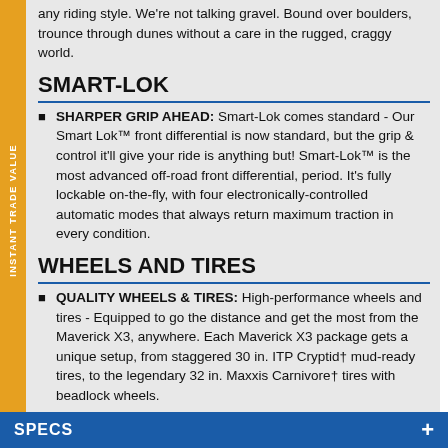any riding style. We're not talking gravel. Bound over boulders, trounce through dunes without a care in the rugged, craggy world.
SMART-LOK
SHARPER GRIP AHEAD: Smart-Lok comes standard - Our Smart Lok™ front differential is now standard, but the grip & control it'll give your ride is anything but! Smart-Lok™ is the most advanced off-road front differential, period. It's fully lockable on-the-fly, with four electronically-controlled automatic modes that always return maximum traction in every condition.
WHEELS AND TIRES
QUALITY WHEELS & TIRES: High-performance wheels and tires - Equipped to go the distance and get the most from the Maverick X3, anywhere. Each Maverick X3 package gets a unique setup, from staggered 30 in. ITP Cryptid† mud-ready tires, to the legendary 32 in. Maxxis Carnivore† tires with beadlock wheels.
INSTANT TRADE VALUE
SPECS